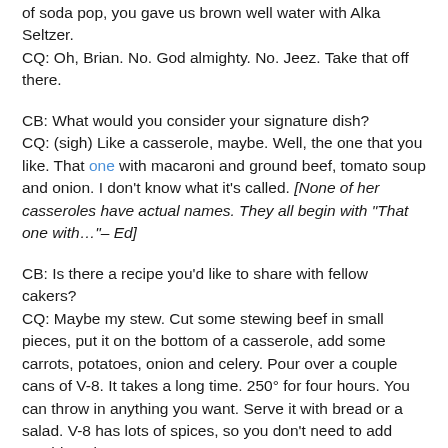CB: Is it true that we were so poor growing up that instead of soda pop, you gave us brown well water with Alka Seltzer?
CQ: Oh, Brian. No. God almighty. No. Jeez. Take that off there.
CB: What would you consider your signature dish?
CQ: (sigh) Like a casserole, maybe. Well, the one that you like. That one with macaroni and ground beef, tomato soup and onion. I don't know what it's called. [None of her casseroles have actual names. They all begin with "That one with..."– Ed]
CB: Is there a recipe you'd like to share with fellow cakers?
CQ: Maybe my stew. Cut some stewing beef in small pieces, put it on the bottom of a casserole, add some carrots, potatoes, onion and celery. Pour over a couple cans of V-8. It takes a long time. 250° for four hours. You can throw in anything you want. Serve it with bread or a salad. V-8 has lots of spices, so you don't need to add anything else.
I wonder this per...